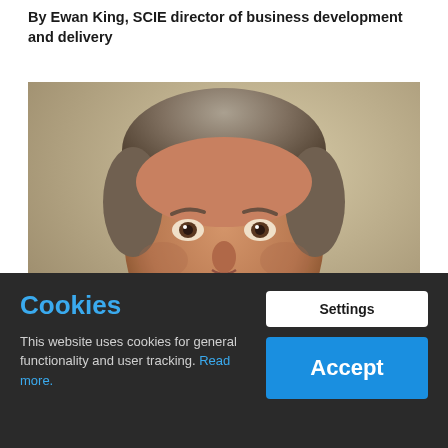By Ewan King, SCIE director of business development and delivery
[Figure (photo): Headshot portrait of a man with grey-streaked brown hair, goatee beard, smiling, wearing a dark jacket, against a neutral background.]
Cookies
This website uses cookies for general functionality and user tracking. Read more.